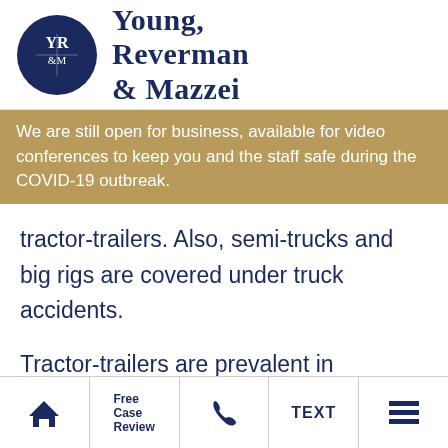[Figure (logo): Young, Reverman & Mazzei law firm logo with navy oval containing YR&M initials and firm name in serif font]
We are still open for business, available for video conferences to keep you and the staff safe during the COVID-19 outbreak.
tractor-trailers. Also, semi-trucks and big rigs are covered under truck accidents.
Tractor-trailers are prevalent in highways all around the U.S. They transfer 75% of the cargo from one state to another and from shipping ports to the respective states.
Home | Free Case Review | Phone | TEXT | Menu